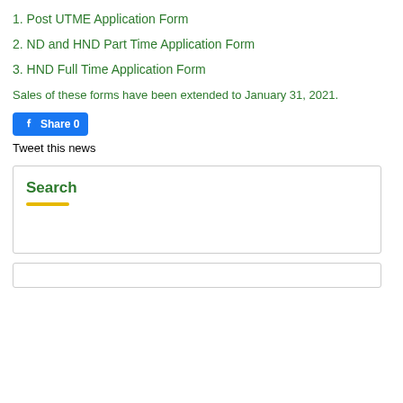1. Post UTME Application Form
2. ND and HND Part Time Application Form
3. HND Full Time Application Form
Sales of these forms have been extended to January 31, 2021.
[Figure (other): Facebook Share button with count 0]
Tweet this news
Search
Yellow underline decoration below Search heading